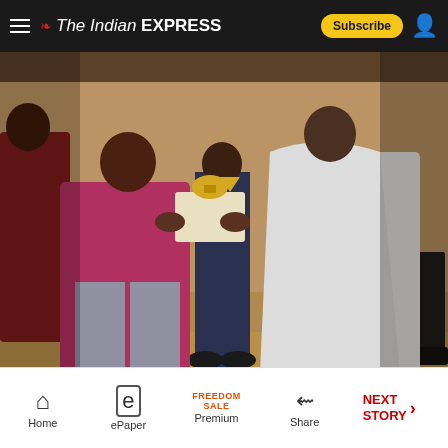The Indian Express
[Figure (photo): Award ceremony photo showing two people exchanging a trophy/award on a stage. Person on left wearing a dark pink/maroon blazer with grey trousers, person on right wearing white traditional Indian attire. Background shows audience in maroon uniforms and dark boots visible on right.]
Home | ePaper | Premium FREEDOM SALE | Share | NEXT STORY